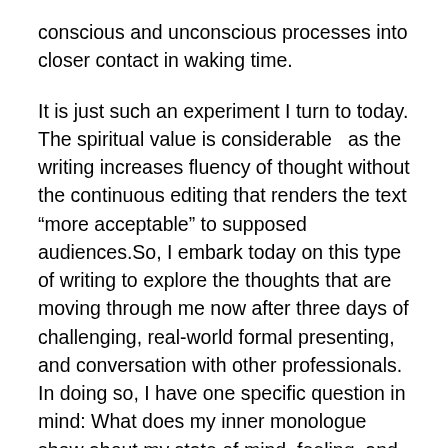conscious and unconscious processes into closer contact in waking time.
It is just such an experiment I turn to today. The spiritual value is considerable  as the writing increases fluency of thought without the continuous editing that renders the text “more acceptable” to supposed audiences.So, I embark today on this type of writing to explore the thoughts that are moving through me now after three days of challenging, real-world formal presenting, and conversation with other professionals. In doing so, I have one specific question in mind: What does my inner monologue show about my state of mind, feeling, and consciousness? What are the signs, symbols, terms of reference, and dynamic forces that underlie my choices? What more can this process show about unconscious